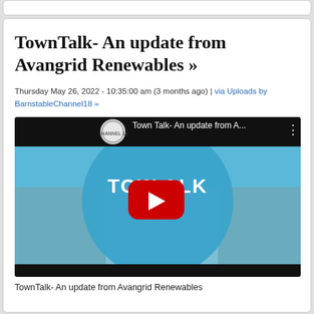TownTalk- An update from Avangrid Renewables »
Thursday May 26, 2022 - 10:35:00 am (3 months ago) | via Uploads by BarnstableChannel18 »
[Figure (screenshot): YouTube video thumbnail showing 'Town Talk- An update from A...' with play button overlay and beach scene background]
TownTalk- An update from Avangrid Renewables